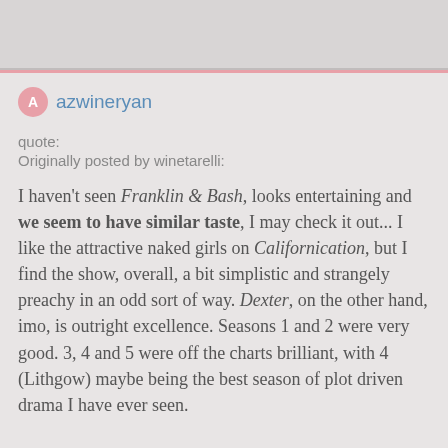azwineryan
quote:
Originally posted by winetarelli:
I haven't seen Franklin & Bash, looks entertaining and we seem to have similar taste, I may check it out... I like the attractive naked girls on Californication, but I find the show, overall, a bit simplistic and strangely preachy in an odd sort of way. Dexter, on the other hand, imo, is outright excellence. Seasons 1 and 2 were very good. 3, 4 and 5 were off the charts brilliant, with 4 (Lithgow) maybe being the best season of plot driven drama I have ever seen.